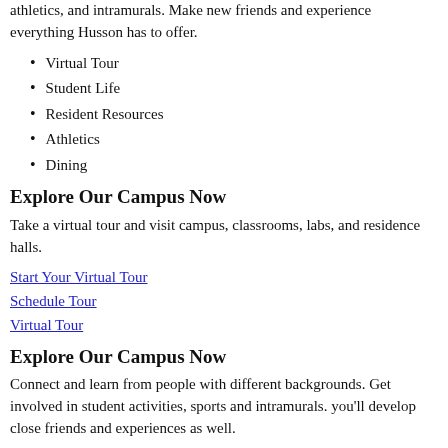athletics, and intramurals. Make new friends and experience everything Husson has to offer.
Virtual Tour
Student Life
Resident Resources
Athletics
Dining
Explore Our Campus Now
Take a virtual tour and visit campus, classrooms, labs, and residence halls.
Start Your Virtual Tour
Schedule Tour
Virtual Tour
Explore Our Campus Now
Connect and learn from people with different backgrounds. Get involved in student activities, sports and intramurals. you'll develop close friends and experiences as well.
Visit Our Campus